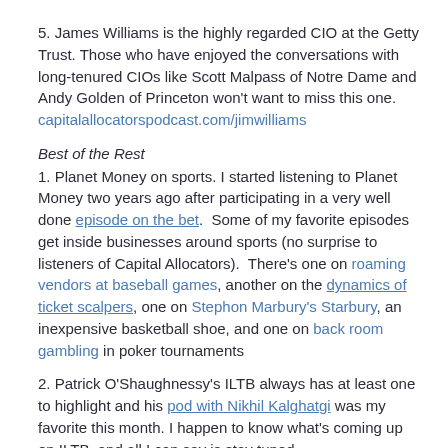5. James Williams is the highly regarded CIO at the Getty Trust. Those who have enjoyed the conversations with long-tenured CIOs like Scott Malpass of Notre Dame and Andy Golden of Princeton won't want to miss this one. capitalallocatorspodcast.com/jimwilliams
Best of the Rest
1. Planet Money on sports. I started listening to Planet Money two years ago after participating in a very well done episode on the bet. Some of my favorite episodes get inside businesses around sports (no surprise to listeners of Capital Allocators). There's one on roaming vendors at baseball games, another on the dynamics of ticket scalpers, one on Stephon Marbury's Starbury, an inexpensive basketball shoe, and one on back room gambling in poker tournaments
2. Patrick O'Shaughnessy's ILTB always has at least one to highlight and his pod with Nikhil Kalghatgi was my favorite this month. I happen to know what's coming up on ILTB, and all I can say is stay tuned.
Community
I've created a group of listeners who are interested in helping me think about and develop the podcast. You can sign up for the